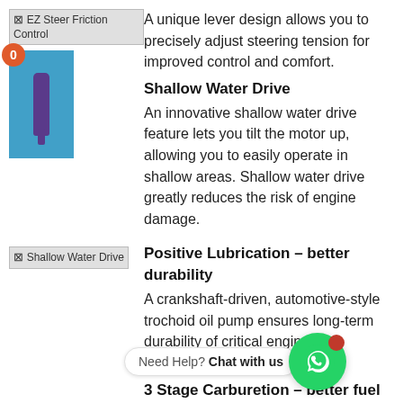[Figure (illustration): EZ Steer Friction Control image placeholder with blue box icon and badge showing 0]
A unique lever design allows you to precisely adjust steering tension for improved control and comfort.
Shallow Water Drive
[Figure (illustration): Shallow Water Drive image placeholder]
An innovative shallow water drive feature lets you tilt the motor up, allowing you to easily operate in shallow areas. Shallow water drive greatly reduces the risk of engine damage.
Positive Lubrication – better durability
[Figure (illustration): Positive Lubrication - better durability image placeholder]
A crankshaft-driven, automotive-style trochoid oil pump ensures long-term durability of critical engine components.
3 Stage Carburetion – better fuel economy
Co[ntrolled carburetion allows you to] re[liably] go directly from a lean mixture at idle to a rich setting at full throttle.